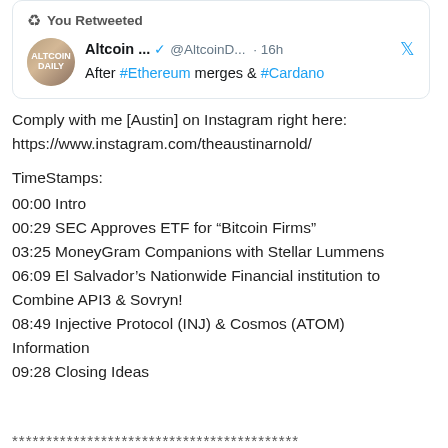[Figure (screenshot): Twitter/X retweet card showing Altcoin Daily account. 'You Retweeted' header with retweet icon. Avatar shows Altcoin Daily logo. Username: Altcoin ... with blue verified checkmark, handle @AltcoinD..., 16h ago, Twitter bird icon. Tweet text: After #Ethereum merges & #Cardano]
Comply with me [Austin] on Instagram right here:
https://www.instagram.com/theaustinarnold/
TimeStamps:
00:00 Intro
00:29 SEC Approves ETF for “Bitcoin Firms”
03:25 MoneyGram Companions with Stellar Lummens
06:09 El Salvador’s Nationwide Financial institution to Combine API3 & Sovryn!
08:49 Injective Protocol (INJ) & Cosmos (ATOM) Information
09:28 Closing Ideas
******************************************